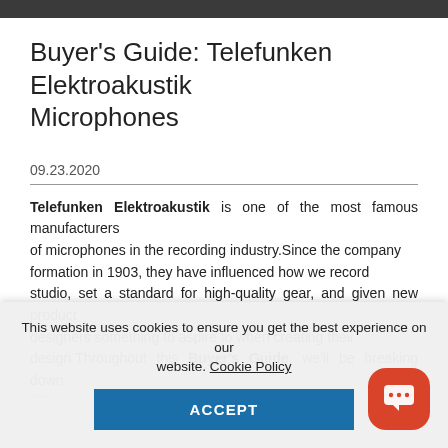[Figure (photo): Dark image strip at the top of the page, partially visible photo]
Buyer's Guide: Telefunken Elektroakustik Microphones
09.23.2020
Telefunken Elektroakustik is one of the most famous manufacturers of microphones in the recording industry. Since the company formation in 1903, they have influenced how we record in the studio, set a standard for high-quality gear, and given new product designers something to aspire to when creating their design. Throughout this Buyer's Guide, we'll be breaking down the differences between several different lines of Tele...
This website uses cookies to ensure you get the best experience on our website. Cookie Policy
ACCEPT